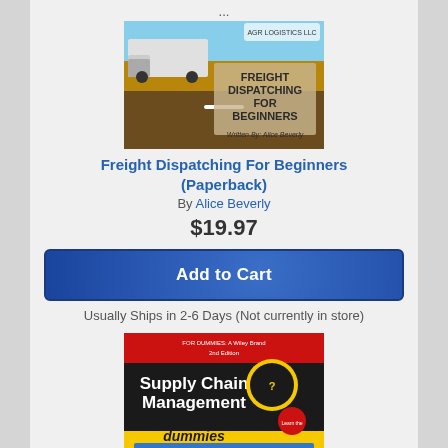...
[Figure (illustration): Book cover: Freight Dispatching For Beginners, Written By Alice Beverly, with truck and road image]
Freight Dispatching For Beginners (Paperback)
By Alice Beverly
$19.97
Add to Cart
Usually Ships in 2-6 Days (Not currently in store)
[Figure (illustration): Book cover: Supply Chain Management for dummies, 2nd Edition, black cover with yellow 'dummies' branding and shipping container image]